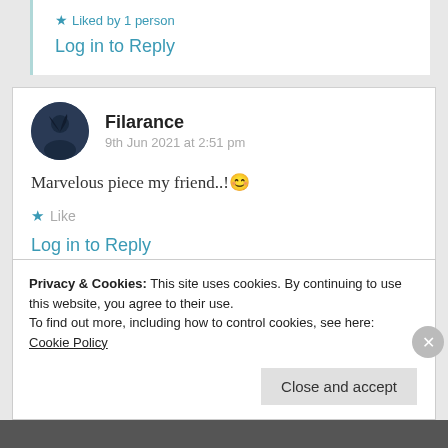★ Liked by 1 person
Log in to Reply
[Figure (photo): Circular user avatar for Filarance, dark background with silhouette figure]
Filarance
9th Jun 2021 at 2:51 pm
Marvelous piece my friend..!😊
★ Like
Log in to Reply
Privacy & Cookies: This site uses cookies. By continuing to use this website, you agree to their use.
To find out more, including how to control cookies, see here: Cookie Policy
Close and accept